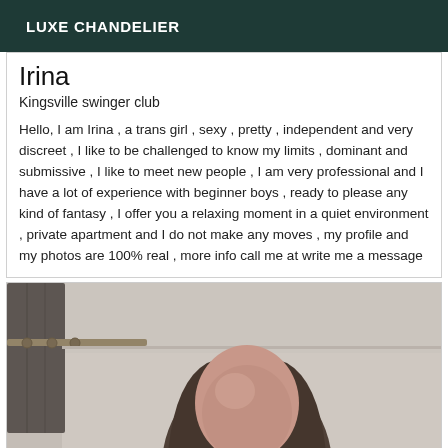LUXE CHANDELIER
Irina
Kingsville swinger club
Hello, I am Irina , a trans girl , sexy , pretty , independent and very discreet , I like to be challenged to know my limits , dominant and submissive , I like to meet new people , I am very professional and I have a lot of experience with beginner boys , ready to please any kind of fantasy , I offer you a relaxing moment in a quiet environment , private apartment and I do not make any moves , my profile and my photos are 100% real , more info call me at write me a message
[Figure (photo): Blurry selfie photo of a person with dark hair in front of a wall with curtain rod visible]